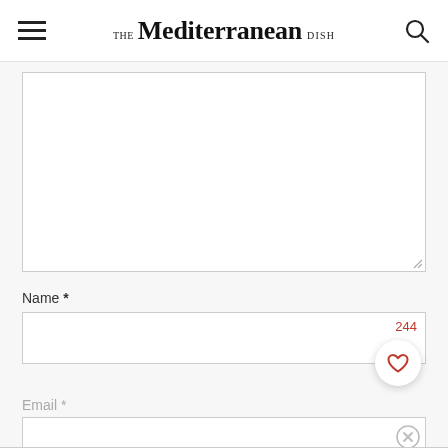THE Mediterranean DISH
[Figure (screenshot): Comment textarea input box (empty, with resize handle at bottom right)]
Name *
[Figure (screenshot): Name input field with character counter showing 244 in red/orange, and a heart/favorite button (circular white button with heart icon)]
Email *
[Figure (screenshot): Email input field with a close (X) button on the right]